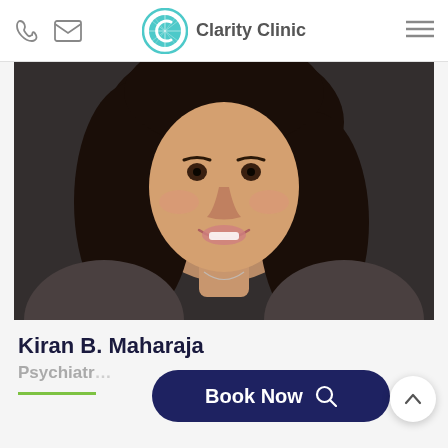Clarity Clinic
[Figure (photo): Headshot photo of Kiran B. Maharaja, a young woman with long dark hair, smiling against a dark brick background]
Kiran B. Maharaja
Psychiatr...
[Figure (other): Book Now button with search icon]
[Figure (other): Scroll up arrow button]